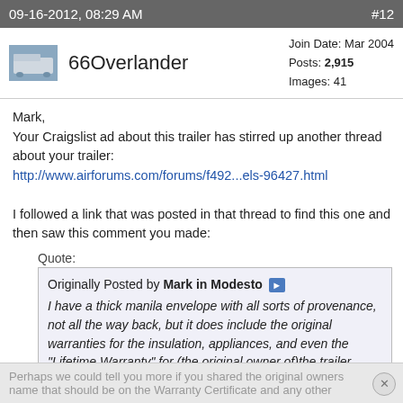09-16-2012, 08:29 AM    #12
66Overlander   Join Date: Mar 2004  Posts: 2,915  Images: 41
Mark,
Your Craigslist ad about this trailer has stirred up another thread about your trailer:
http://www.airforums.com/forums/f492...els-96427.html

I followed a link that was posted in that thread to find this one and then saw this comment you made:
Quote:
Originally Posted by Mark in Modesto
I have a thick manila envelope with all sorts of provenance, not all the way back, but it does include the original warranties for the insulation, appliances, and even the "Lifetime Warranty" for (the original owner of)the trailer itself. In this folder are receipts for several owners, dating back to the early 1960's.
Perhaps we could tell you more if you shared the original owners name that should be on the Warranty Certificate and any other